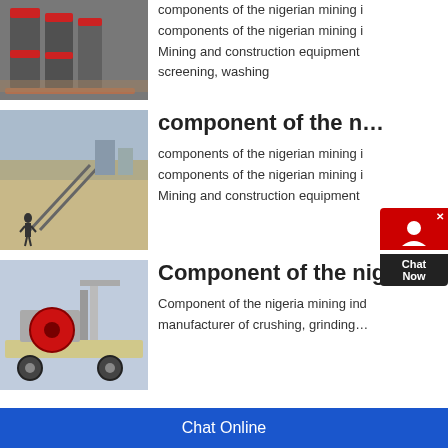[Figure (photo): Industrial grinding mills, gray with red accents, in a factory setting]
components of the nigerian mining i
components of the nigerian mining i
Mining and construction equipment
screening, washing
[Figure (photo): Open-air mining or quarry site with conveyor belts and a person standing in foreground, sandy terrain]
component of the n...
components of the nigerian mining i
components of the nigerian mining i
Mining and construction equipment
[Figure (photo): Mobile jaw crusher on a wheeled trailer with red flywheel, outdoors]
Component of the niger...
Component of the nigeria mining ind
manufacturer of crushing, grinding...
Chat Online